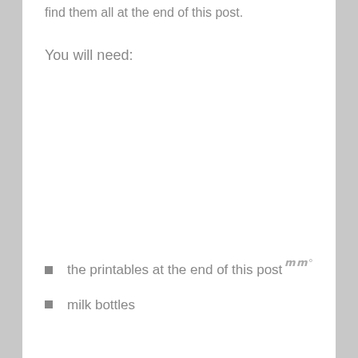find them all at the end of this post.
You will need:
the printables at the end of this post
milk bottles